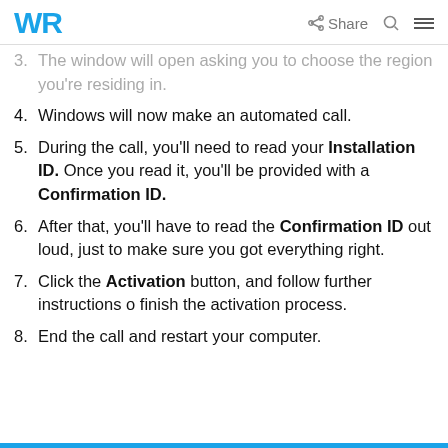WR | Share
3. The window will open asking you to choose the region you're residing in.
4. Windows will now make an automated call.
5. During the call, you'll need to read your Installation ID. Once you read it, you'll be provided with a Confirmation ID.
6. After that, you'll have to read the Confirmation ID out loud, just to make sure you got everything right.
7. Click the Activation button, and follow further instructions o finish the activation process.
8. End the call and restart your computer.